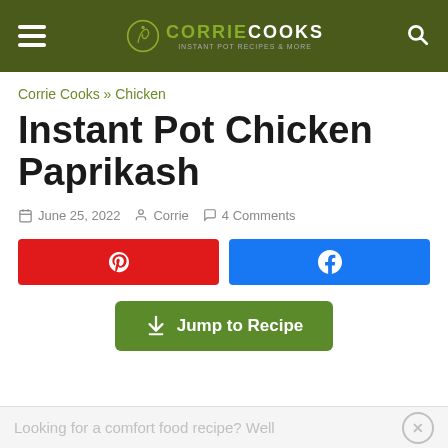CORRIE COOKS
Corrie Cooks » Chicken
Instant Pot Chicken Paprikash
June 25, 2022  Corrie  4 Comments
[Figure (other): Pinterest share button (red) and Facebook share button (blue)]
Jump to Recipe
Looking for a comfort food recipe? Well